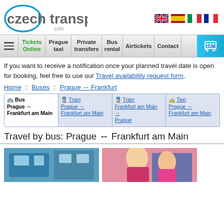czech transport .com
If you want to receive a notification once your planned travel date is open for booking, feel free to use our Travel availability request form.
Home :: Buses :: Prague ↔ Frankfurt
| Bus Prague ↔ Frankfurt am Main | Train Prague → Frankfurt am Main | Train Frankfurt am Main → Prague | Taxi Prague ↔ Frankfurt am Main |
| --- | --- | --- | --- |
Travel by bus: Prague ↔ Frankfurt am Main
[Figure (photo): Photo of bus interior]
[Figure (photo): Photo of woman on phone in bus]